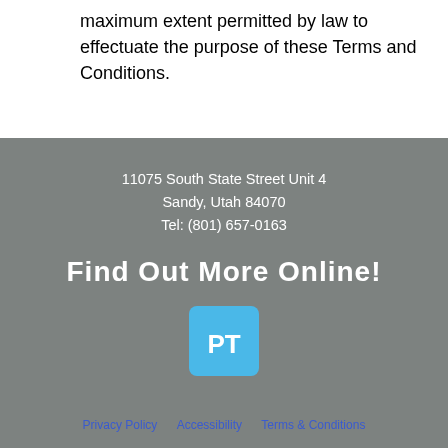maximum extent permitted by law to effectuate the purpose of these Terms and Conditions.
11075 South State Street Unit 4
Sandy, Utah 84070
Tel: (801) 657-0163
Find Out More Online!
[Figure (logo): PT logo: white letters PT on a blue circle background]
Privacy Policy   Accessibility   Terms & Conditions